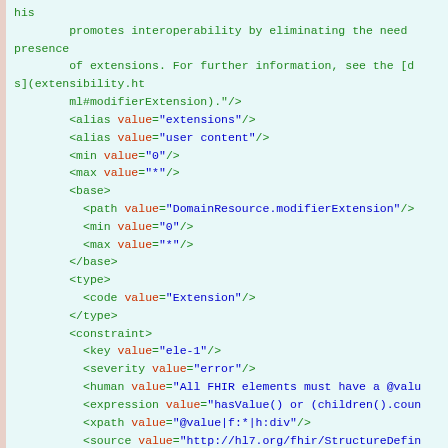XML/FHIR code snippet showing modifierExtension element definition with alias, min, max, base, type, and constraint elements